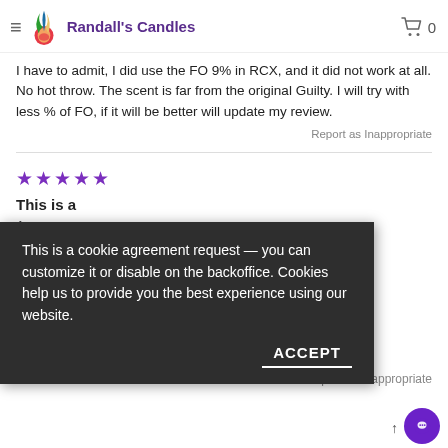Randall's Candles — navigation header with logo and cart
I have to admit, I did use the FO 9% in RCX, and it did not work at all. No hot throw. The scent is far from the original Guilty. I will try with less % of FO, if it will be better will update my review.
Report as Inappropriate
★★★★★ (5 stars)
This is a
This is a cookie agreement request — you can customize it or disable on the backoffice. Cookies help us to provide you the best experience using our website.
ACCEPT
Report as Inappropriate